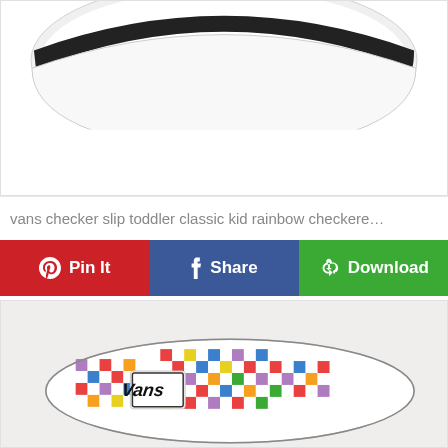[Figure (photo): Top-down cropped view of a white sole of a Vans shoe against white background]
vans checker slip toddler classic kid rainbow checkere…
[Figure (infographic): Action bar with three buttons: Pin It (red, Pinterest), Share (blue, Facebook), Download (green)]
[Figure (photo): Top-down view of a Vans slip-on shoe with rainbow checkerboard pattern in red, orange, yellow, green, blue, and purple on white canvas with Vans logo on insole]